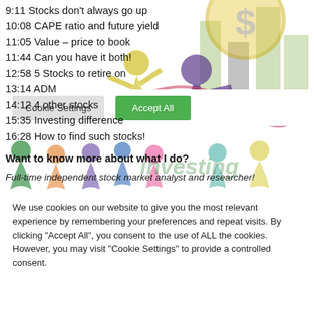[Figure (illustration): Background illustration with colorful figures of people jumping, a dollar sign coin, and a bar chart graphic on a white background]
9:11 Stocks don't always go up
10:08 CAPE ratio and future yield
11:05 Value – price to book
11:44 Can you have it both!
12:58 5 Stocks to retire on
13:14 ADM
14:12 4 other stocks
15:35 Investing difference
16:28 How to find such stocks!
Want to know more about what I do?
Full-time independent stock market analyst and researcher!
We use cookies on our website to give you the most relevant experience by remembering your preferences and repeat visits. By clicking "Accept All", you consent to the use of ALL the cookies. However, you may visit "Cookie Settings" to provide a controlled consent.
Cookie Settings
Accept All